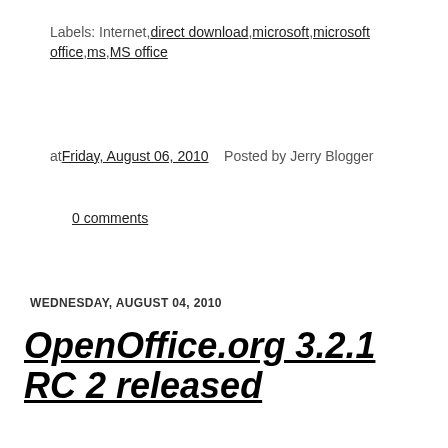Labels: Internet,direct download,microsoft,microsoft office,ms,MS office
at Friday, August 06, 2010   Posted by Jerry Blogger
0 comments
WEDNESDAY, AUGUST 04, 2010
OpenOffice.org 3.2.1 RC 2 released
no English version yet, so download the stable one for now! You can